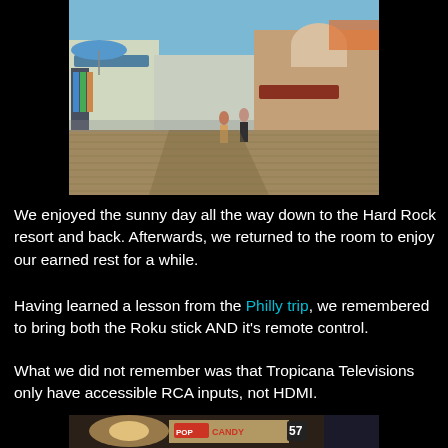[Figure (photo): Outdoor boardwalk scene on a sunny day with shops, clothing displays, and people walking. Blue sky visible. Appears to be a seaside boardwalk.]
We enjoyed the sunny day all the way down to the Hard Rock resort and back. Afterwards, we returned to the room to enjoy our earned rest for a while.
Having learned a lesson from the Philly trip, we remembered to bring both the Roku stick AND it's remote control.
What we did not remember was that Tropicana Televisions only have accessible RCA inputs, not HDMI.
[Figure (photo): Interior hotel room photo showing a lamp and what appears to be a Pop Candy branded item with the number 57.]